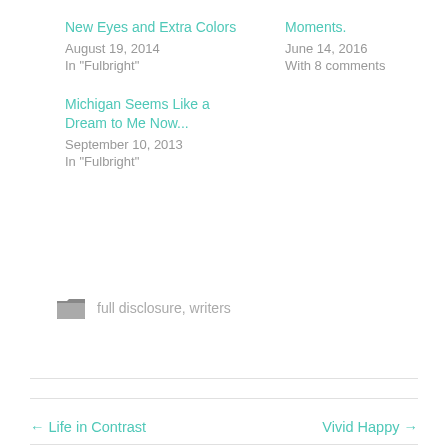New Eyes and Extra Colors
August 19, 2014
In "Fulbright"
Moments.
June 14, 2016
With 8 comments
Michigan Seems Like a Dream to Me Now...
September 10, 2013
In "Fulbright"
full disclosure, writers
← Life in Contrast
Vivid Happy →